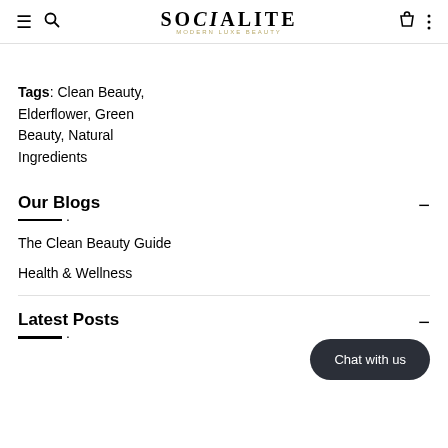SOCIALITE MODERN LUXE BEAUTY
Tags: Clean Beauty, Elderflower, Green Beauty, Natural Ingredients
Our Blogs
The Clean Beauty Guide
Health & Wellness
Latest Posts